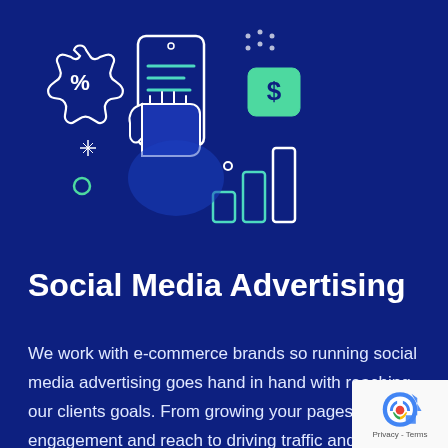[Figure (illustration): Digital marketing illustration showing a hand holding a smartphone with a bar chart, a percentage badge icon, a dollar sign tag, and various decorative dots and sparkles, all drawn in white and teal outlines on a dark blue background.]
Social Media Advertising
We work with e-commerce brands so running social media advertising goes hand in hand with reaching our clients goals. From growing your pages, engagement and reach to driving traffic and sales we handle the setup, bidding, management and reporting of social media advertising campaigns from start to finish. We are able to see results within days.